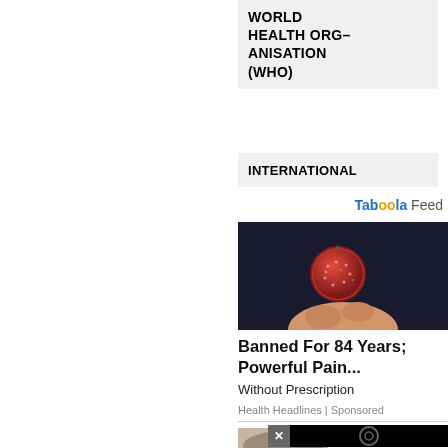WORLD HEALTH ORGANISATION (WHO)
INTERNATIONAL
Taboola Feed
[Figure (photo): Hand holding a red sugar-coated gummy candy against a dark background]
Banned For 84 Years; Powerful Pain...
Without Prescription
Health Headlines | Sponsored
[Figure (photo): Mushroom or truffle image at the bottom]
[Figure (screenshot): Black video overlay with circular icon and close button]